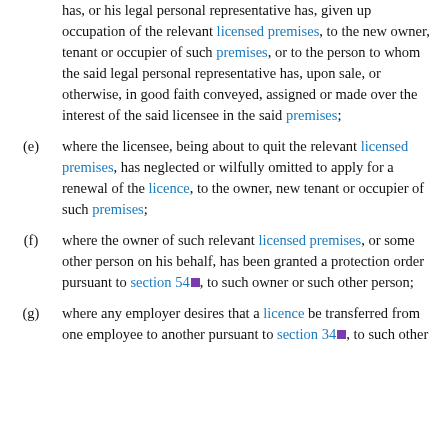has, or his legal personal representative has, given up occupation of the relevant licensed premises, to the new owner, tenant or occupier of such premises, or to the person to whom the said legal personal representative has, upon sale, or otherwise, in good faith conveyed, assigned or made over the interest of the said licensee in the said premises;
(e) where the licensee, being about to quit the relevant licensed premises, has neglected or wilfully omitted to apply for a renewal of the licence, to the owner, new tenant or occupier of such premises;
(f) where the owner of such relevant licensed premises, or some other person on his behalf, has been granted a protection order pursuant to section 54, to such owner or such other person;
(g) where any employer desires that a licence be transferred from one employee to another pursuant to section 34, to such other